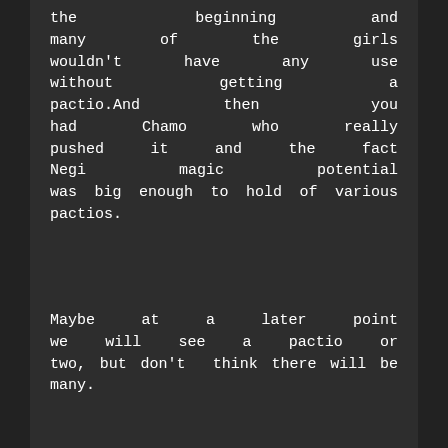the beginning and many of the girls wouldn't have any use without getting a pactio.And then you had Chamo who really pushed it and the fact Negi magic potential was big enough to hold of various pactios.
Maybe at a later point we will see a pactio or two, but don't think there will be many.
[Figure (illustration): Pixel art avatar icon - teal/green colored robot-like character on dark olive/green background]
NML says: November 4, 2014 at 03:50
It's very possible that Akamatsu won't have pactio feature in UQH, I just felt like this arc